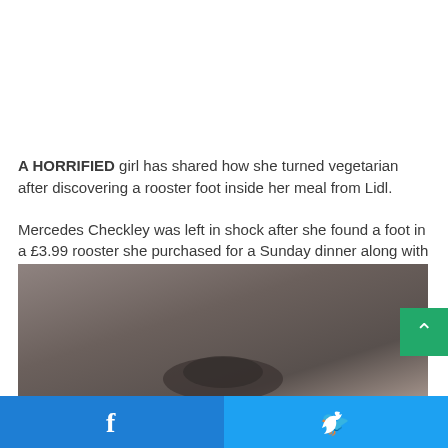A HORRIFIED girl has shared how she turned vegetarian after discovering a rooster foot inside her meal from Lidl.
Mercedes Checkley was left in shock after she found a foot in a £3.99 rooster she purchased for a Sunday dinner along with her friends.
[Figure (photo): Partial photo of a rooster or chicken, dark brownish-grey background, cut off at bottom of page]